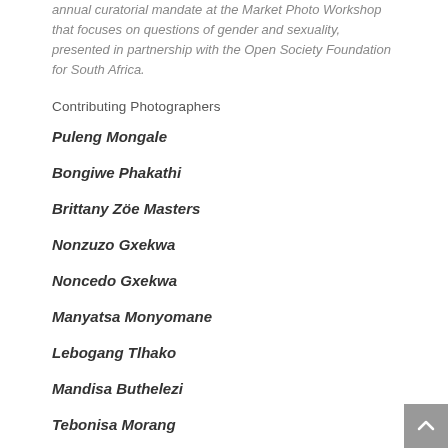annual curatorial mandate at the Market Photo Workshop that focuses on questions of gender and sexuality, presented in partnership with the Open Society Foundation for South Africa.
Contributing Photographers
Puleng Mongale
Bongiwe Phakathi
Brittany Zöe Masters
Nonzuzo Gxekwa
Noncedo Gxekwa
Manyatsa Monyomane
Lebogang Tlhako
Mandisa Buthelezi
Tebonisa Morang…